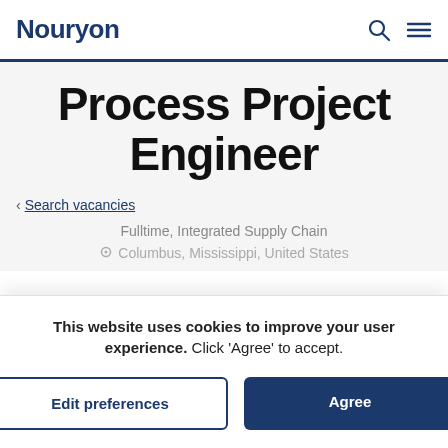Nouryon
Process Project Engineer
< Search vacancies
Fulltime, Integrated Supply Chain
Columbus, Mississippi, United States
This website uses cookies to improve your user experience. Click 'Agree' to accept.
Edit preferences
Agree